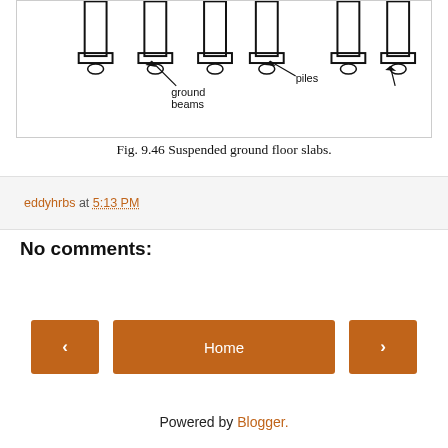[Figure (engineering-diagram): Engineering diagram showing suspended ground floor slabs with ground beams and piles labeled with arrows.]
Fig. 9.46 Suspended ground floor slabs.
eddyhrbs at 5:13 PM
No comments:
Post a Comment
Home
View web version
Powered by Blogger.